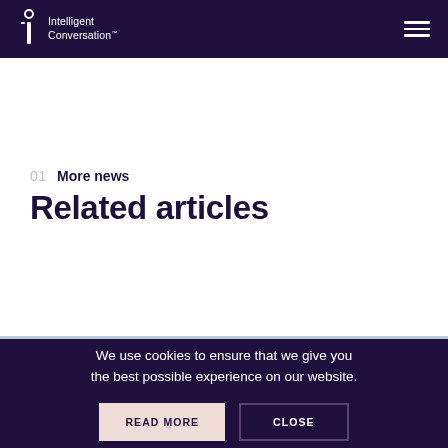Intelligent Conversation™
01 More news
Related articles
We use cookies to ensure that we give you the best possible experience on our website.
READ MORE
CLOSE